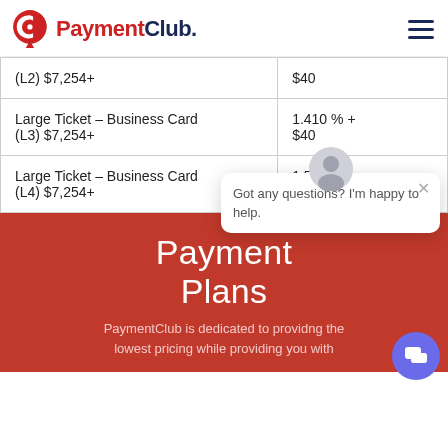PaymentClub.
| Category | Rate |
| --- | --- |
| (L2) $7,254+ | $40 |
| Large Ticket – Business Card (L3) $7,254+ | 1.410 % + $40 |
| Large Ticket – Business Card (L4) $7,254+ | 1.510 % + $40 |
Payment Plans
PaymentClub is dedicated to providng the lowest pricing while providing you with